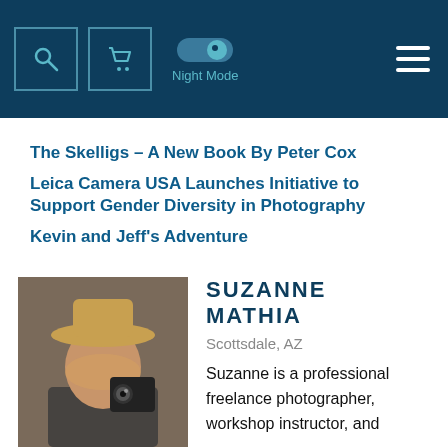Night Mode
The Skelligs – A New Book By Peter Cox
Leica Camera USA Launches Initiative to Support Gender Diversity in Photography
Kevin and Jeff's Adventure
SUZANNE MATHIA
Scottsdale, AZ
Suzanne is a professional freelance photographer, workshop instructor, and writer, whose work regularly appears in Arizona Highways Magazine, as well as numerous national publications. Her images have been published by National Geographic,